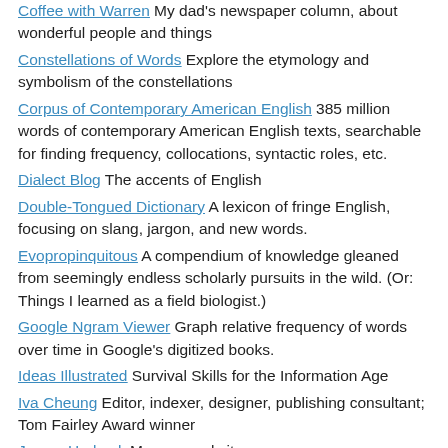Coffee with Warren My dad's newspaper column, about wonderful people and things
Constellations of Words Explore the etymology and symbolism of the constellations
Corpus of Contemporary American English 385 million words of contemporary American English texts, searchable for finding frequency, collocations, syntactic roles, etc.
Dialect Blog The accents of English
Double-Tongued Dictionary A lexicon of fringe English, focusing on slang, jargon, and new words.
Evopropinquitous A compendium of knowledge gleaned from seemingly endless scholarly pursuits in the wild. (Or: Things I learned as a field biologist.)
Google Ngram Viewer Graph relative frequency of words over time in Google's digitized books.
Ideas Illustrated Survival Skills for the Information Age
Iva Cheung Editor, indexer, designer, publishing consultant; Tom Fairley Award winner
James Harbeck My personal site
Kate Britt Kate Britt, a professional editor